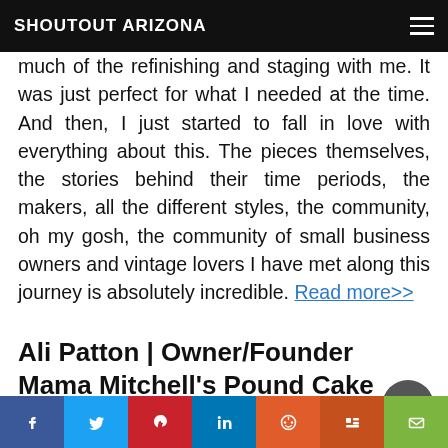SHOUTOUT ARIZONA
much of the refinishing and staging with me. It was just perfect for what I needed at the time. And then, I just started to fall in love with everything about this. The pieces themselves, the stories behind their time periods, the makers, all the different styles, the community, oh my gosh, the community of small business owners and vintage lovers I have met along this journey is absolutely incredible. Read more>>
Ali Patton | Owner/Founder Mama Mitchell's Pound Cake
[Figure (photo): Three-panel photo strip showing items related to Mama Mitchell's Pound Cake]
Social share bar: Facebook, Twitter, Pinterest, LinkedIn, Reddit, Mix, Email